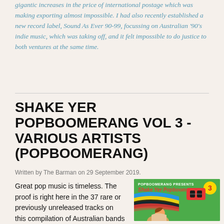gigantic increases in the price of international postage which was making exporting almost impossible. I had also recently established a new record label, Sound As Ever 90-99, focussing on Australian '90's indie music, which was taking off, and it felt impossible to do justice to both ventures at the same time.
SHAKE YER POPBOOMERANG VOL 3 - VARIOUS ARTISTS (POPBOOMERANG)
Written by The Barman on 29 September 2019.
Great pop music is timeless. The proof is right here in the 37 rare or previously unreleased tracks on this compilation of Australian bands from Melbourne label Popboomerang.
[Figure (illustration): Album cover for Shake Yer Popboomerang Vol 3 - green background with colorful stripes, red boomerang/cassette image, and cartoon girl]